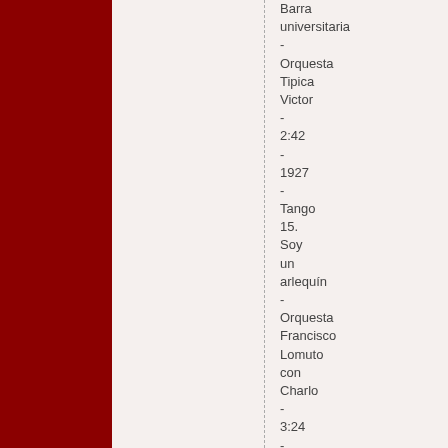Barra universitaria - Orquesta Tipica Victor - 2:42 - 1927 - Tango 15. Soy un arlequín - Orquesta Francisco Lomuto con Charlo - 3:24 - 1929 - Tango 16. Orgullosa - Orquesta Francisco Lomuto - 3:21 -